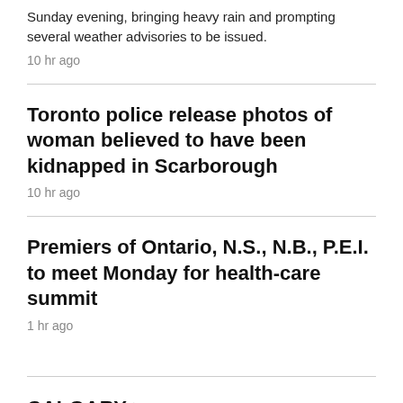Sunday evening, bringing heavy rain and prompting several weather advisories to be issued.
10 hr ago
Toronto police release photos of woman believed to have been kidnapped in Scarborough
10 hr ago
Premiers of Ontario, N.S., N.B., P.E.I. to meet Monday for health-care summit
1 hr ago
CALGARY >
[Figure (photo): Thumbnail images at bottom of page]